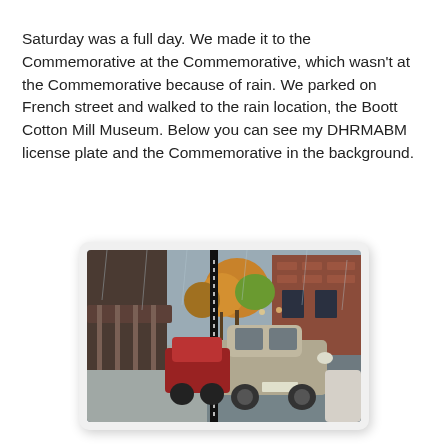Saturday was a full day. We made it to the Commemorative at the Commemorative, which wasn't at the Commemorative because of rain. We parked on French street and walked to the rain location, the Boott Cotton Mill Museum. Below you can see my DHRMABM license plate and the Commemorative in the background.
[Figure (photo): Street scene in the rain showing parked cars along a sidewalk with autumn trees and brick buildings in the background.]
The Commemorative was dedicated to Larry Carradini, and featured his wife and friends reading his works or his favorite Kerouac passages. It concluded with David Amram reading the penultimate chapter from On the Road.